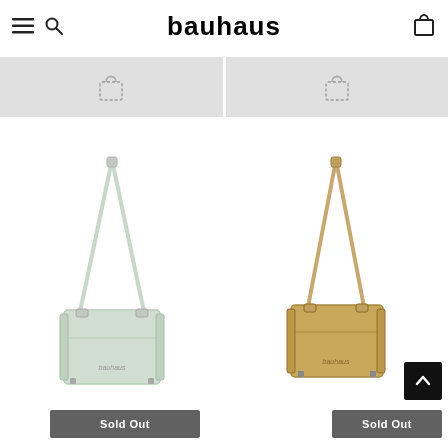bauhaus
[Figure (screenshot): E-commerce page header with hamburger menu, search icon, bauhaus logo, and shopping bag icon]
[Figure (photo): Light mint/sage colored crossbody shoulder bag with strap, labeled Sold Out]
[Figure (photo): Tan/camel colored crossbody shoulder bag with strap, labeled Sold Out]